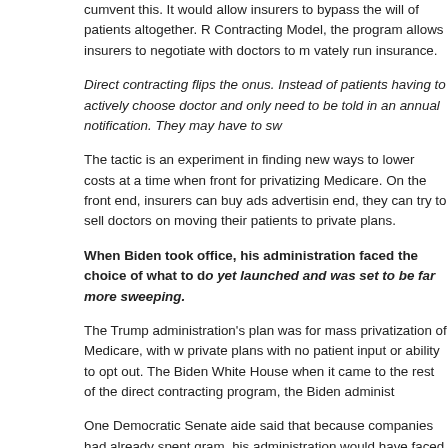cumvent this. It would allow insurers to bypass the will of patients altogether. R... Contracting Model, the program allows insurers to negotiate with doctors to m... vately run insurance.
Direct contracting flips the onus. Instead of patients having to actively choose doctor and only need to be told in an annual notification. They may have to sw...
The tactic is an experiment in finding new ways to lower costs at a time when front for privatizing Medicare. On the front end, insurers can buy ads advertisin end, they can try to sell doctors on moving their patients to private plans.
When Biden took office, his administration faced the choice of what to do. yet launched and was set to be far more sweeping.
The Trump administration's plan was for mass privatization of Medicare, with w private plans with no patient input or ability to opt out. The Biden White House when it came to the rest of the direct contracting program, the Biden administ...
One Democratic Senate aide said that because companies had already spent gram, his administration would have faced fierce industry backlash if they shut...
The Centers for Medicare and Medicaid Services (CMS) approved 53 compan 2021. CMS is not saying how many people have been filtered into the direct co released in the second quarter of 2022.
The Biden administration essentially chose a middle ground. Medical industry